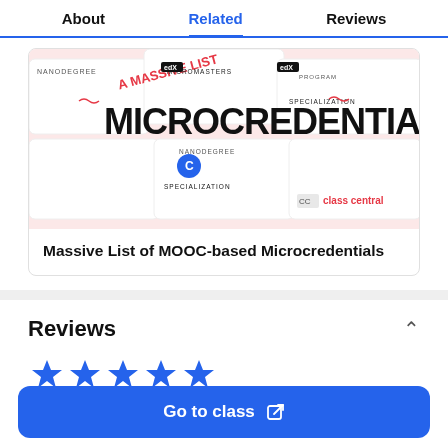About   Related   Reviews
[Figure (screenshot): Decorative infographic image showing various MOOC-based microcredential types including MicroMasters, XSeries, Nanodegree, Specialization, Program. Text reads 'A Massive List MICROCREDENTIALS' with Class Central logo.]
Massive List of MOOC-based Microcredentials
Reviews
[Figure (other): Row of star rating icons in blue, partially visible]
Go to class